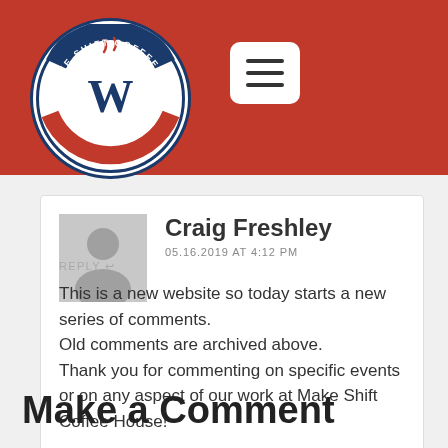[Figure (logo): Make Shift Coffee House circular logo with red, white and blue design]
Craig Freshley
05.16.2019 AT 4:12 PM
REPLY
This is a new website so today starts a new series of comments.
Old comments are archived above.
Thank you for commenting on specific events or on any aspect of our work at Make Shift Coffee House!
Make a Comment